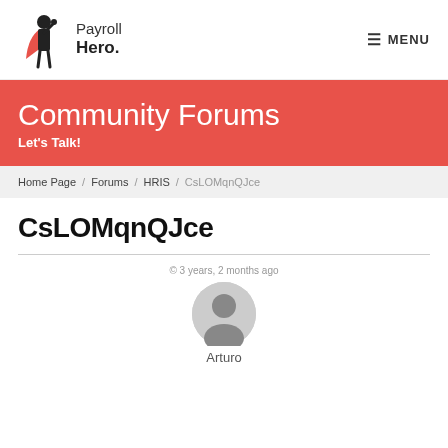[Figure (logo): PayrollHero logo with superhero figure and text 'Payroll Hero.']
≡ MENU
Community Forums
Let's Talk!
Home Page / Forums / HRIS / CsLOMqnQJce
CsLOMqnQJce
© 3 years, 2 months ago
[Figure (illustration): User avatar circle icon (grey person silhouette)]
Arturo